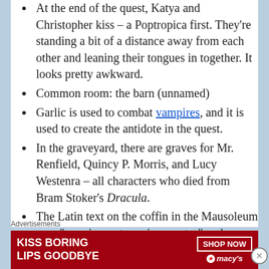At the end of the quest, Katya and Christopher kiss – a Poptropica first. They’re standing a bit of a distance away from each other and leaning their tongues in together. It looks pretty awkward.
Common room: the barn (unnamed)
Garlic is used to combat vampires, and it is used to create the antidote in the quest.
In the graveyard, there are graves for Mr. Renfield, Quincy P. Morris, and Lucy Westenra – all characters who died from Bram Stoker’s Dracula.
The Latin text on the coffin in the Mausoleum says “meminervnt omnia amantes” and translates to “remember all
Advertisements
[Figure (other): Advertisement banner: KISS BORING LIPS GOODBYE with SHOP NOW button and Macy's logo with red star, dark red background, woman's lips visible]